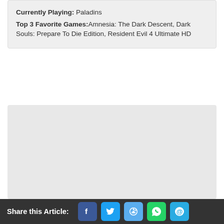Currently Playing: Paladins
Top 3 Favorite Games:Amnesia: The Dark Descent, Dark Souls: Prepare To Die Edition, Resident Evil 4 Ultimate HD
[Figure (other): Large empty light gray block below the info box]
Share this Article: [Facebook] [Twitter] [Reddit] [WhatsApp] [Email]